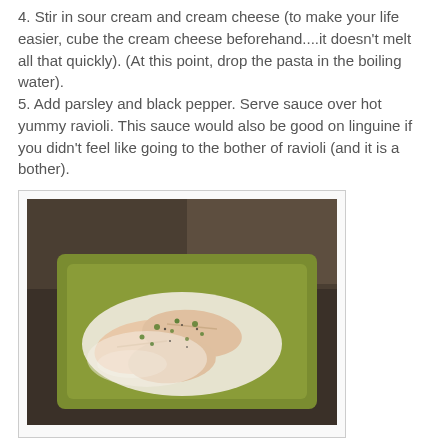4. Stir in sour cream and cream cheese (to make your life easier, cube the cream cheese beforehand....it doesn't melt all that quickly). (At this point, drop the pasta in the boiling water).
5. Add parsley and black pepper. Serve sauce over hot yummy ravioli. This sauce would also be good on linguine if you didn't feel like going to the bother of ravioli (and it is a bother).
[Figure (photo): A green plate with ravioli topped with a creamy white sauce, garnished with chopped parsley and black pepper, photographed on a dark stone countertop.]
This serves four - 10 ravioli per person. Hubs isn't the only person looking forward to lunch tomorrow. Stay tuned tomorrow for adventures in galettes, stinky cheese and